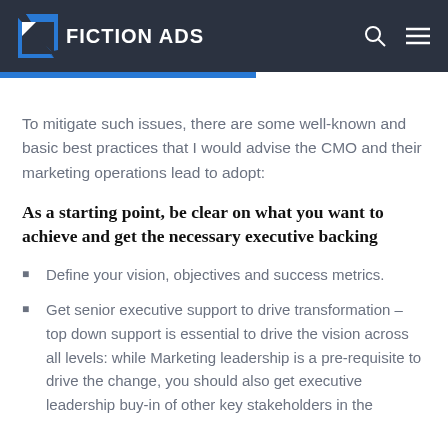FICTION ADS
To mitigate such issues, there are some well-known and basic best practices that I would advise the CMO and their marketing operations lead to adopt:
As a starting point, be clear on what you want to achieve and get the necessary executive backing
Define your vision, objectives and success metrics.
Get senior executive support to drive transformation – top down support is essential to drive the vision across all levels: while Marketing leadership is a pre-requisite to drive the change, you should also get executive leadership buy-in of other key stakeholders in the